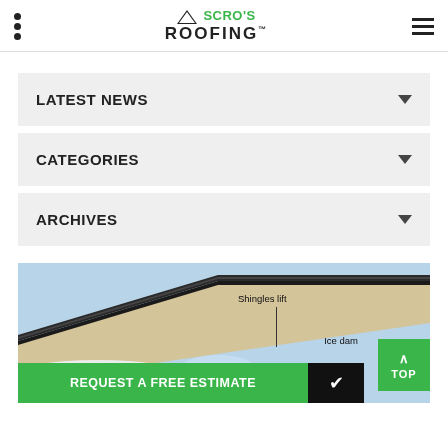Scro's Roofing - navigation header
LATEST NEWS
CATEGORIES
ARCHIVES
[Figure (illustration): Roof cross-section diagram showing shingles lift and ice dam labels]